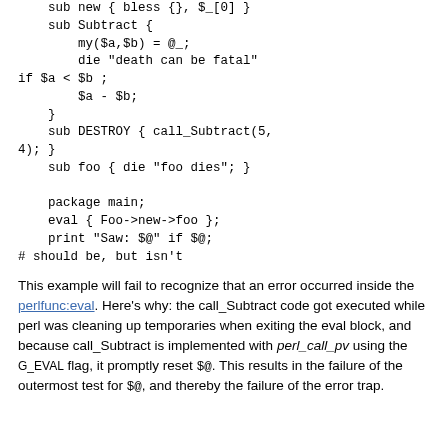sub new { bless {}, $_[0] }
    sub Subtract {
        my($a,$b) = @_;
        die "death can be fatal"
if $a < $b ;
        $a - $b;
    }
    sub DESTROY { call_Subtract(5,
4); }
    sub foo { die "foo dies"; }

    package main;
    eval { Foo->new->foo };
    print "Saw: $@" if $@;
# should be, but isn't
This example will fail to recognize that an error occurred inside the perlfunc:eval. Here's why: the call_Subtract code got executed while perl was cleaning up temporaries when exiting the eval block, and because call_Subtract is implemented with perl_call_pv using the G_EVAL flag, it promptly reset $@. This results in the failure of the outermost test for $@, and thereby the failure of the error trap.